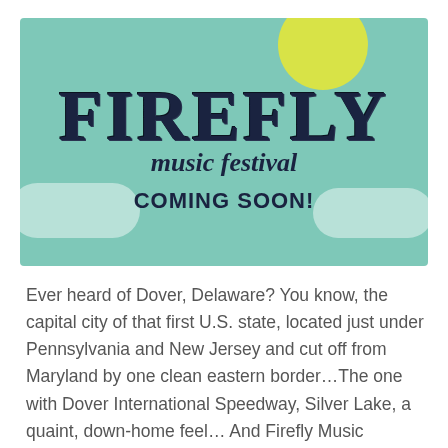[Figure (illustration): Firefly Music Festival promotional banner with teal/mint green background, yellow sun circle, cloud shapes, large bold 'FIREFLY' text, 'music festival' subtitle, and 'COMING SOON!' tagline]
Ever heard of Dover, Delaware? You know, the capital city of that first U.S. state, located just under Pennsylvania and New Jersey and cut off from Maryland by one clean eastern border…The one with Dover International Speedway, Silver Lake, a quaint, down-home feel… And Firefly Music Festival? In late July of this year (the 20-22, to be exact), more than 30 of the most prominent indie/alternative artists of today will be meeting up in